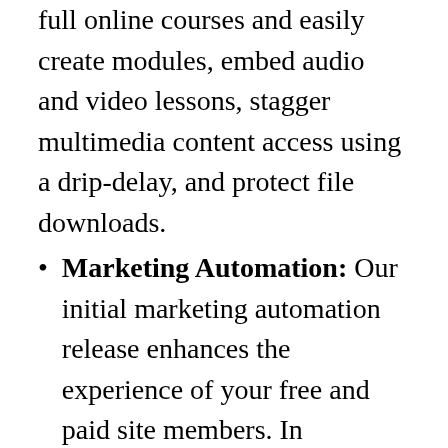full online courses and easily create modules, embed audio and video lessons, stagger multimedia content access using a drip-delay, and protect file downloads.
Marketing Automation: Our initial marketing automation release enhances the experience of your free and paid site members. In conjunction with your email marketing software, you can now send targeted email messages, add people to lists, move them between lists, unsubscribe them from lists, and even add different membership access levels